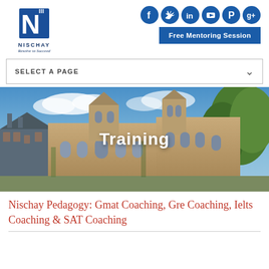[Figure (logo): Nischay logo with large blue N, text NISCHAY and tagline Resolve to Succeed]
[Figure (infographic): Row of 6 circular dark blue social media icons: Facebook, Twitter, LinkedIn, YouTube, Pinterest, Google+]
Free Mentoring Session
SELECT A PAGE
[Figure (photo): Gothic university building exterior with blue sky and trees, with overlaid text Training]
Training
Nischay Pedagogy: Gmat Coaching, Gre Coaching, Ielts Coaching & SAT Coaching